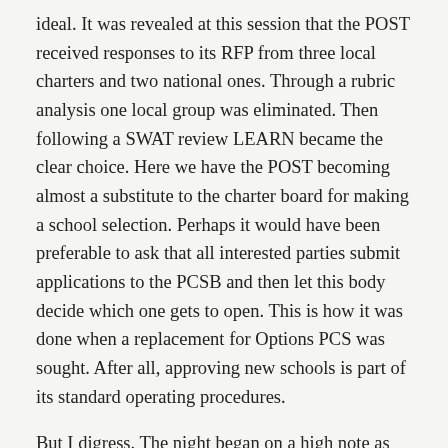ideal. It was revealed at this session that the POST received responses to its RFP from three local charters and two national ones. Through a rubric analysis one local group was eliminated. Then following a SWAT review LEARN became the clear choice. Here we have the POST becoming almost a substitute to the charter board for making a school selection. Perhaps it would have been preferable to ask that all interested parties submit applications to the PCSB and then let this body decide which one gets to open. This is how it was done when a replacement for Options PCS was sought. After all, approving new schools is part of its standard operating procedures.
But I digress. The night began on a high note as representatives of LEARN DC and the LEARN Charter School Network detailed it record of having 95 percent of its students graduate high school and 83 percent admitted to college. The CMO consists of ten campuses